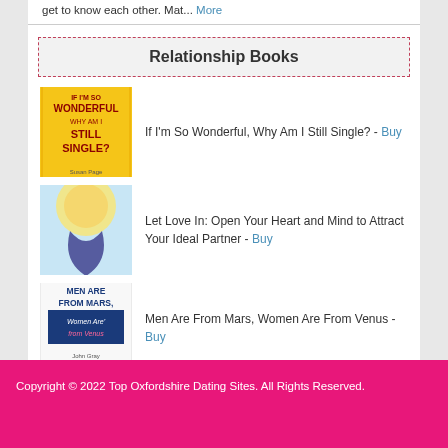get to know each other. Mat... More
Relationship Books
If I'm So Wonderful, Why Am I Still Single? - Buy
Let Love In: Open Your Heart and Mind to Attract Your Ideal Partner - Buy
Men Are From Mars, Women Are From Venus - Buy
Copyright © 2022 Top Oxfordshire Dating Sites. All Rights Reserved.